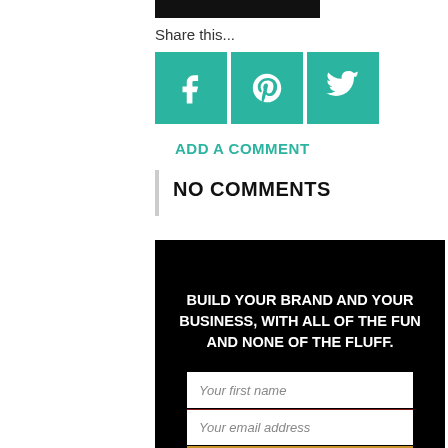[Figure (other): Black horizontal bar at the top of the page]
Share this...
[Figure (other): Row of three teal social media share buttons: Facebook (f), Pinterest (p), Twitter (bird)]
ADD A COMMENT
NO COMMENTS
[Figure (infographic): Black promotional banner with white bold headline: BUILD YOUR BRAND AND YOUR BUSINESS, WITH ALL OF THE FUN AND NONE OF THE FLUFF. Below are two white input fields (Your first name, Your email address) and a gold SUBSCRIBE button.]